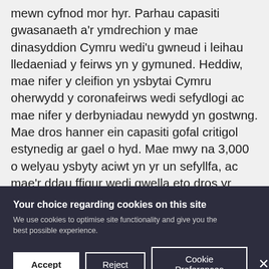mewn cyfnod mor hyr. Parhau capasiti gwasanaeth a'r ymdrechion y mae dinasyddion Cymru wedi'u gwneud i leihau lledaeniad y feirws yn y gymuned. Heddiw, mae nifer y cleifion yn ysbytai Cymru oherwydd y coronafeirws wedi sefydlogi ac mae nifer y derbyniadau newydd yn gostwng. Mae dros hanner ein capasiti gofal critigol estynedig ar gael o hyd. Mae mwy na 3,000 o welyau ysbyty aciwt yn yr un sefyllfa, ac mae'r ddau ffigur wedi gwella eto dros yr ychydig ddyddiau diwethaf. Oherwydd y platfform hwnnw a grëwyd, gallwn ddefnyddio'r wythnosau nesaf i baratoi; i gytuno ar set gyffredin o fesurau gwrthrychol i nodi'r pwynt lle mae'n ddiogel i
Your choice regarding cookies on this site
We use cookies to optimise site functionality and give you the best possible experience.